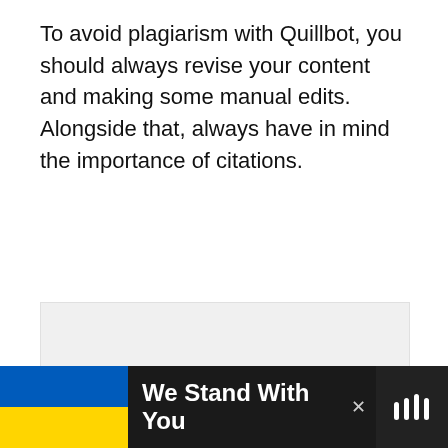To avoid plagiarism with Quillbot, you should always revise your content and making some manual edits. Alongside that, always have in mind the importance of citations.
[Figure (screenshot): A blank/white content area with social interaction buttons (heart/like button in blue, like count of 5, share button) on the right side, and a 'WHAT'S NEXT' card showing 'Why QuillBot is the Best...' in bottom right corner.]
[Figure (infographic): Advertisement banner with Ukrainian flag (blue and yellow) on left, bold text 'We Stand With You' in white on black background, close button (x), and a logo on the right.]